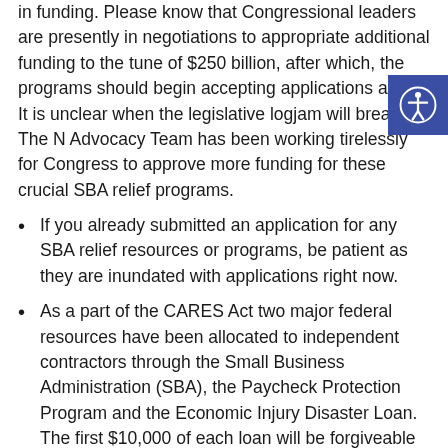in funding. Please know that Congressional leaders are presently in negotiations to appropriate additional funding to the tune of $250 billion, after which, the programs should begin accepting applications again. It is unclear when the legislative logjam will break. The NAR Advocacy Team has been working tirelessly for Congress to approve more funding for these crucial SBA relief programs.
If you already submitted an application for any SBA relief resources or programs, be patient as they are inundated with applications right now.
As a part of the CARES Act two major federal resources have been allocated to independent contractors through the Small Business Administration (SBA), the Paycheck Protection Program and the Economic Injury Disaster Loan. The first $10,000 of each loan will be forgiveable (a non repaid grant) with any amount over that being a low interest loan. REALTORS® and Brokerages are eligble to apply for both, but only one of the two loan programs will